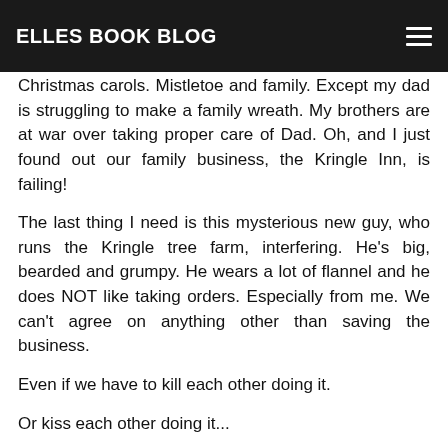ELLES BOOK BLOG
Christmas carols. Mistletoe and family. Except my dad is struggling to make a family wreath. My brothers are at war over taking proper care of Dad. Oh, and I just found out our family business, the Kringle Inn, is failing!
The last thing I need is this mysterious new guy, who runs the Kringle tree farm, interfering. He's big, bearded and grumpy. He wears a lot of flannel and he does NOT like taking orders. Especially from me. We can't agree on anything other than saving the business.
Even if we have to kill each other doing it.
Or kiss each other doing it...
Because I might be falling for the guy.